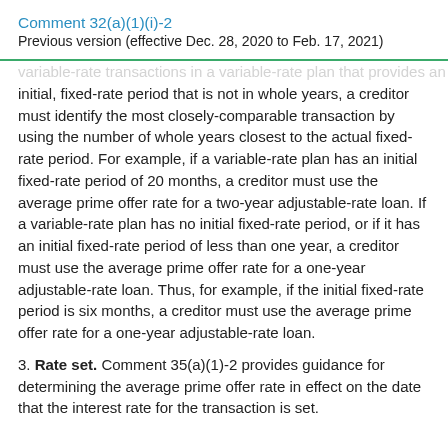Comment 32(a)(1)(i)-2
Previous version (effective Dec. 28, 2020 to Feb. 17, 2021)
initial, fixed-rate period that is not in whole years, a creditor must identify the most closely-comparable transaction by using the number of whole years closest to the actual fixed-rate period. For example, if a variable-rate plan has an initial fixed-rate period of 20 months, a creditor must use the average prime offer rate for a two-year adjustable-rate loan. If a variable-rate plan has no initial fixed-rate period, or if it has an initial fixed-rate period of less than one year, a creditor must use the average prime offer rate for a one-year adjustable-rate loan. Thus, for example, if the initial fixed-rate period is six months, a creditor must use the average prime offer rate for a one-year adjustable-rate loan.
3. Rate set. Comment 35(a)(1)-2 provides guidance for determining the average prime offer rate in effect on the date that the interest rate for the transaction is set.